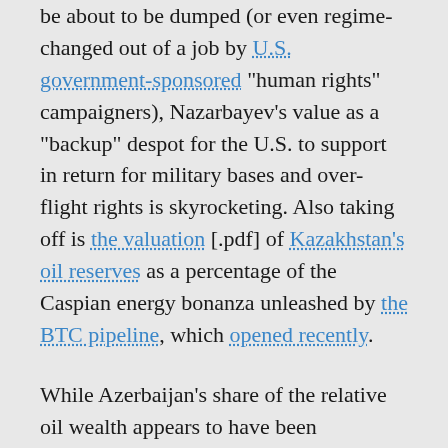be about to be dumped (or even regime-changed out of a job by U.S. government-sponsored "human rights" campaigners), Nazarbayev's value as a "backup" despot for the U.S. to support in return for military bases and over-flight rights is skyrocketing. Also taking off is the valuation [.pdf] of Kazakhstan's oil reserves as a percentage of the Caspian energy bonanza unleashed by the BTC pipeline, which opened recently.
While Azerbaijan's share of the relative oil wealth appears to have been overestimated – due to sales hype of lobbyists eager for U.S subsidies – Kazakhstan's projected 150 million tons yearly by 2015 should keep the pipeline busy and incredibly profitable for Chevron/Texaco, Mobil/Exxon, and other Western energy companies, which are heavily invested in the area. Nazarbayev's decision to sign on